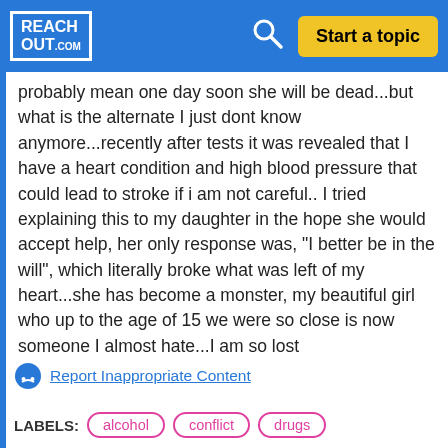REACH OUT.com — Start a topic
probably mean one day soon she will be dead...but what is the alternate I just dont know anymore...recently after tests it was revealed that I have a heart condition and high blood pressure that could lead to stroke if i am not careful.. I tried explaining this to my daughter in the hope she would accept help, her only response was, "I better be in the will", which literally broke what was left of my heart...she has become a monster, my beautiful girl who up to the age of 15 we were so close is now someone I almost hate...I am so lost
Report Inappropriate Content
LABELS: alcohol conflict drugs